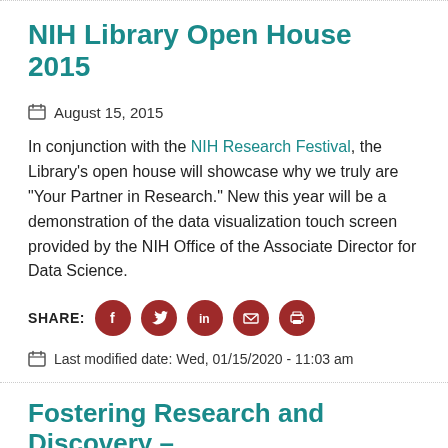NIH Library Open House 2015
August 15, 2015
In conjunction with the NIH Research Festival, the Library’s open house will showcase why we truly are “Your Partner in Research.” New this year will be a demonstration of the data visualization touch screen provided by the NIH Office of the Associate Director for Data Science.
SHARE: [Facebook] [Twitter] [LinkedIn] [Email] [Print]
Last modified date: Wed, 01/15/2020 - 11:03 am
Fostering Research and Discovery –